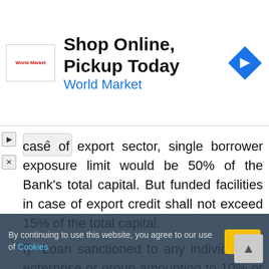[Figure (screenshot): Advertisement banner: Shop Online, Pickup Today - World Market]
case of export sector, single borrower exposure limit would be 50% of the Bank's total capital. But funded facilities in case of export credit shall not exceed 15% of the total capital.
f)  Loan sanctioned to any individual or enterprise or group amounting to 10% or more of the Bank's capital shall be considered as large loan.
g)  Total large loan portfolio of the Bank will not exceed the limit fixed by Bangladesh bank vide their BRPD circular # 05 dated April 09, 2005 or as advised by Bangladesh Bank from time to time. In li...